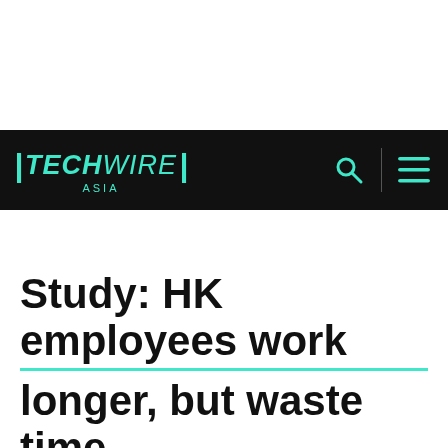TECHWIRE ASIA
Study: HK employees work longer, but waste time online